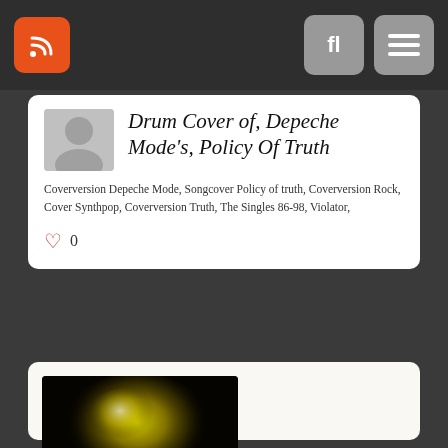RSS feed and navigation icons
Drum Cover of, Depeche Mode's, Policy Of Truth
Coverversion Depeche Mode, Songcover Policy of truth, Coverversion Rock, Cover Synthpop, Coverversion Truth, The Singles 86-98, Violator,
0
[Figure (photo): Dark thumbnail image with yellow/green light glow against black background]